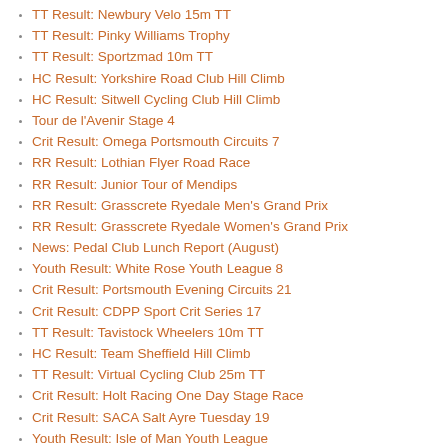TT Result: Newbury Velo 15m TT
TT Result: Pinky Williams Trophy
TT Result: Sportzmad 10m TT
HC Result: Yorkshire Road Club Hill Climb
HC Result: Sitwell Cycling Club Hill Climb
Tour de l'Avenir Stage 4
Crit Result: Omega Portsmouth Circuits 7
RR Result: Lothian Flyer Road Race
RR Result: Junior Tour of Mendips
RR Result: Grasscrete Ryedale Men's Grand Prix
RR Result: Grasscrete Ryedale Women's Grand Prix
News: Pedal Club Lunch Report (August)
Youth Result: White Rose Youth League 8
Crit Result: Portsmouth Evening Circuits 21
Crit Result: CDPP Sport Crit Series 17
TT Result: Tavistock Wheelers 10m TT
HC Result: Team Sheffield Hill Climb
TT Result: Virtual Cycling Club 25m TT
Crit Result: Holt Racing One Day Stage Race
Crit Result: SACA Salt Ayre Tuesday 19
Youth Result: Isle of Man Youth League
Crit Result: Velopark Crits 1
Crit Result: Holt Racing Pembrey Crits rd 16
Startlist: RTTC 10 Mile Championship (Men)
Startlist: RTTC 10 Mile Championship (Women/Juniors)